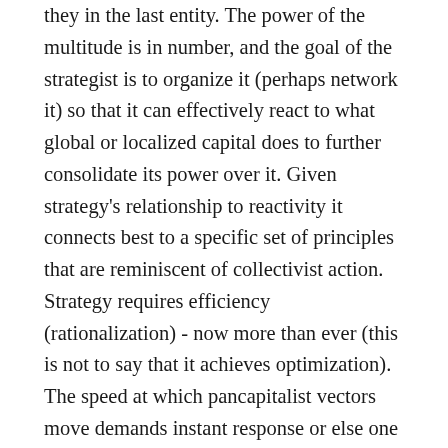they in the last entity. The power of the multitude is in number, and the goal of the strategist is to organize it (perhaps network it) so that it can effectively react to what global or localized capital does to further consolidate its power over it. Given strategy's relationship to reactivity it connects best to a specific set of principles that are reminiscent of collectivist action. Strategy requires efficiency (rationalization) - now more than ever (this is not to say that it achieves optimization). The speed at which pancapitalist vectors move demands instant response or else one is left gurgling in the backwater.* With efficiency comes discipline. The important point to remember here is that this type of discipline is grounded in voluntarism as opposed to a threat of violence. If problems over discipline arise, they tend to occur when different